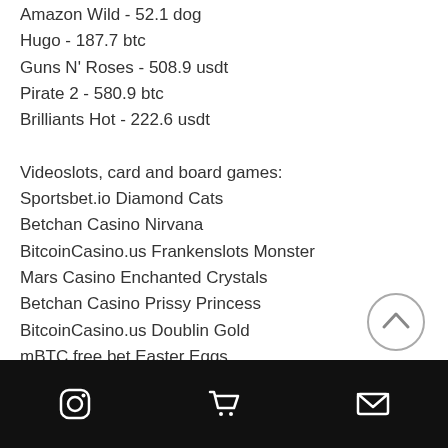Amazon Wild - 52.1 dog
Hugo - 187.7 btc
Guns N' Roses - 508.9 usdt
Pirate 2 - 580.9 btc
Brilliants Hot - 222.6 usdt
Videoslots, card and board games:
Sportsbet.io Diamond Cats
Betchan Casino Nirvana
BitcoinCasino.us Frankenslots Monster
Mars Casino Enchanted Crystals
Betchan Casino Prissy Princess
BitcoinCasino.us Doublin Gold
mBTC free bet Easter Eggs
Betcoin.ag Casino Royal Frog
mBTC free bet Ho Ho Ho
Oshi Casino Lights
Sportsbet.io Treasures of Tombs
CryptoWild Casino Fat Lady Sings
Instagram | Cart | Email